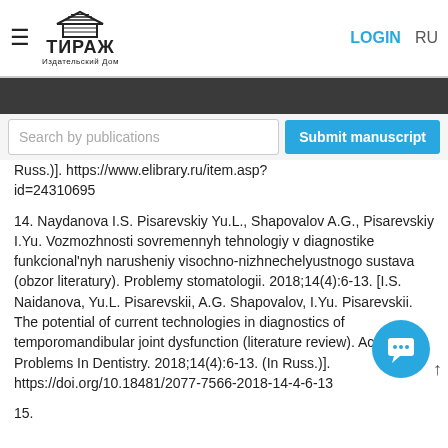ТИРАЖ Издательский Дом | LOGIN | RU
Search by publications
Submit manuscript
Russ.)]. https://www.elibrary.ru/item.asp?id=24310695
14. Naydanova I.S. Pisarevskiy Yu.L., Shapovalov A.G., Pisarevskiy I.Yu. Vozmozhnosti sovremennyh tehnologiy v diagnostike funkcional'nyh narusheniy visochno-nizhnechelyustnogo sustava (obzor literatury). Problemy stomatologii. 2018;14(4):6-13. [I.S. Naidanova, Yu.L. Pisarevskii, A.G. Shapovalov, I.Yu. Pisarevskii. The potential of current technologies in diagnostics of temporomandibular joint dysfunction (literature review). Actual Problems In Dentistry. 2018;14(4):6-13. (In Russ.)]. https://doi.org/10.18481/2077-7566-2018-14-4-6-13
15.